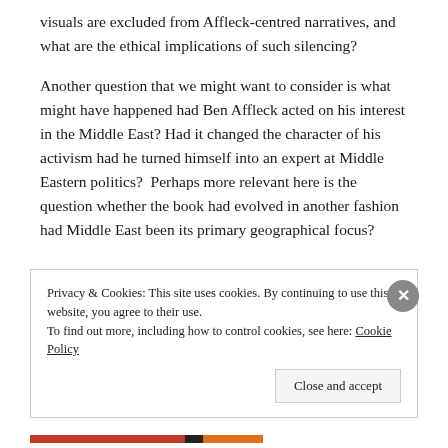visuals are excluded from Affleck-centred narratives, and what are the ethical implications of such silencing?
Another question that we might want to consider is what might have happened had Ben Affleck acted on his interest in the Middle East? Had it changed the character of his activism had he turned himself into an expert at Middle Eastern politics?  Perhaps more relevant here is the question whether the book had evolved in another fashion had Middle East been its primary geographical focus?
Privacy & Cookies: This site uses cookies. By continuing to use this website, you agree to their use.
To find out more, including how to control cookies, see here: Cookie Policy
Close and accept